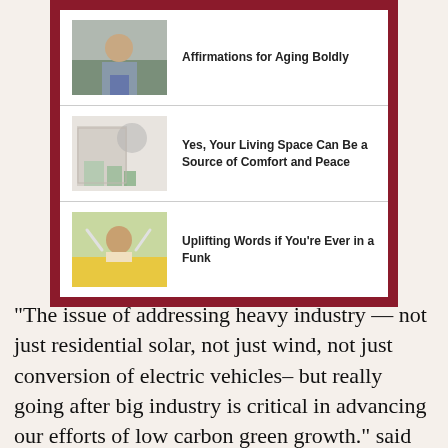Affirmations for Aging Boldly
Yes, Your Living Space Can Be a Source of Comfort and Peace
Uplifting Words if You're Ever in a Funk
“The issue of addressing heavy industry — not just residential solar, not just wind, not just conversion of electric vehicles– but really going after big industry is critical in advancing our efforts of low carbon green growth.” said Newsom.